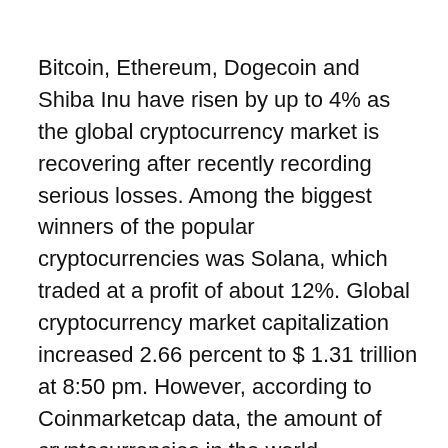Bitcoin, Ethereum, Dogecoin and Shiba Inu have risen by up to 4% as the global cryptocurrency market is recovering after recently recording serious losses. Among the biggest winners of the popular cryptocurrencies was Solana, which traded at a profit of about 12%. Global cryptocurrency market capitalization increased 2.66 percent to $ 1.31 trillion at 8:50 pm. However, according to Coinmarketcap data, the amount of cryptocurrencies in the world decreased by 9.11% to $ 78.49 billion.
The Indian Securities and Exchange Commission (Sebi), India's capital market regulator, discusses that celebrities, sportsmen and other prominent public figures should not recommend cryptographic...